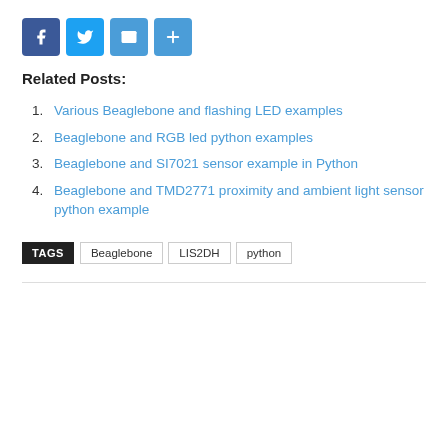[Figure (other): Social sharing buttons: Facebook, Twitter, Email, More (+)]
Related Posts:
Various Beaglebone and flashing LED examples
Beaglebone and RGB led python examples
Beaglebone and SI7021 sensor example in Python
Beaglebone and TMD2771 proximity and ambient light sensor python example
TAGS  Beaglebone  LIS2DH  python